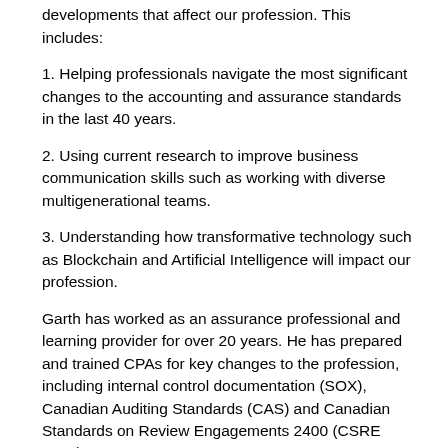communication research and current technical developments that affect our profession. This includes:
1. Helping professionals navigate the most significant changes to the accounting and assurance standards in the last 40 years.
2. Using current research to improve business communication skills such as working with diverse multigenerational teams.
3. Understanding how transformative technology such as Blockchain and Artificial Intelligence will impact our profession.
Garth has worked as an assurance professional and learning provider for over 20 years. He has prepared and trained CPAs for key changes to the profession, including internal control documentation (SOX), Canadian Auditing Standards (CAS) and Canadian Standards on Review Engagements 2400 (CSRE 2400).
He earned a Master of Accounting and a Bachelor of Arts (Honours – Accounting) from the University of Waterloo,